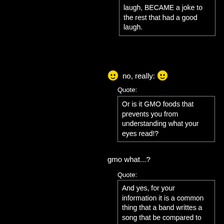laugh, BECAME a joke to the rest that had a good laugh.
no, really:
Quote:
Or is it GMO foods that prevents you from understanding what your eyes read!?
gmo what...?
Quote:
And yes, for your information it is a common thing that a band writtes a song that be compared to their previous work.
see, i told you this guy knows his stuff!
Quote:
I can actually draw parallels between